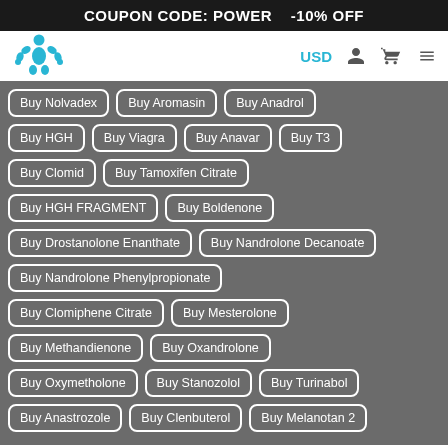COUPON CODE: POWER    -10% OFF
[Figure (logo): Blue muscular bodybuilder silhouette logo]
Buy Nolvadex
Buy Aromasin
Buy Anadrol
Buy HGH
Buy Viagra
Buy Anavar
Buy T3
Buy Clomid
Buy Tamoxifen Citrate
Buy HGH FRAGMENT
Buy Boldenone
Buy Drostanolone Enanthate
Buy Nandrolone Decanoate
Buy Nandrolone Phenylpropionate
Buy Clomiphene Citrate
Buy Mesterolone
Buy Methandienone
Buy Oxandrolone
Buy Oxymetholone
Buy Stanozolol
Buy Turinabol
Buy Anastrozole
Buy Clenbuterol
Buy Melanotan 2